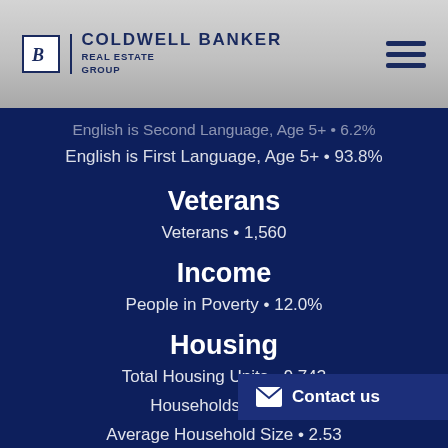Coldwell Banker Real Estate Group
English is Second Language, Age 5+ • 6.2%
English is First Language, Age 5+ • 93.8%
Veterans
Veterans • 1,560
Income
People in Poverty • 12.0%
Housing
Total Housing Units • 9,743
Households • 7,840
Average Household Size • 2.53
Owner-Occupied •
Multi-Family • 10.0%
Contact us